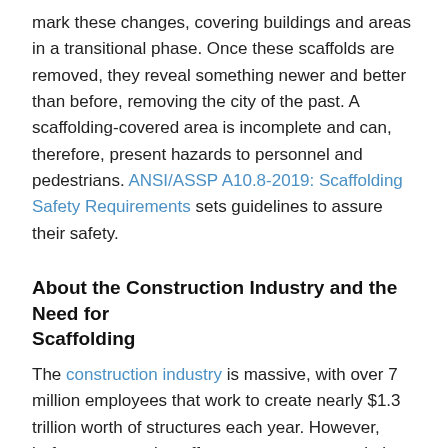mark these changes, covering buildings and areas in a transitional phase. Once these scaffolds are removed, they reveal something newer and better than before, removing the city of the past. A scaffolding-covered area is incomplete and can, therefore, present hazards to personnel and pedestrians. ANSI/ASSP A10.8-2019: Scaffolding Safety Requirements sets guidelines to assure their safety.
About the Construction Industry and the Need for Scaffolding
The construction industry is massive, with over 7 million employees that work to create nearly $1.3 trillion worth of structures each year. However, before construction efforts are seen to completion, scaffolding acts as a bandage of sorts, a supportive gauze that conceals these works-in-progress and keeps personnel and others safe from their hazards.